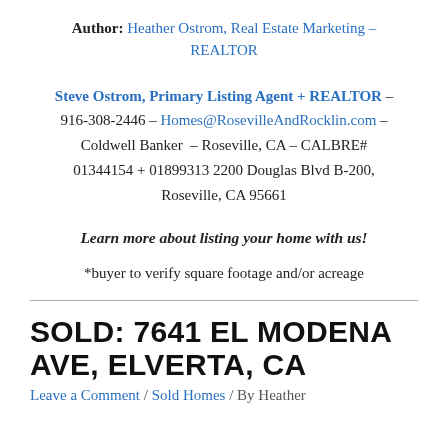Author: Heather Ostrom, Real Estate Marketing – REALTOR
Steve Ostrom, Primary Listing Agent + REALTOR – 916-308-2446 – Homes@RosevilleAndRocklin.com – Coldwell Banker  – Roseville, CA – CALBRE# 01344154 + 01899313 2200 Douglas Blvd B-200, Roseville, CA 95661
Learn more about listing your home with us!
*buyer to verify square footage and/or acreage
SOLD: 7641 EL MODENA AVE, ELVERTA, CA
Leave a Comment / Sold Homes / By Heather